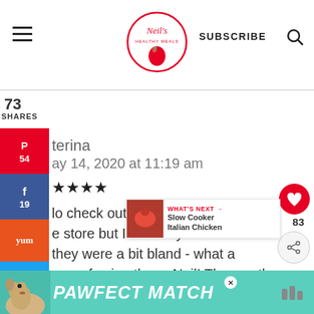Neil's Healthy Meals | SUBSCRIBE
73 SHARES
terina
ay 14, 2020 at 11:19 am
★★★★
lo check out the veggie sausages e store but I've always assumed they were a bit bland - what a way of using them, Neil! The weather is
[Figure (screenshot): What's Next panel showing Slow Cooker Italian Chicken]
[Figure (screenshot): PAWFECT MATCH advertisement banner with dog image]